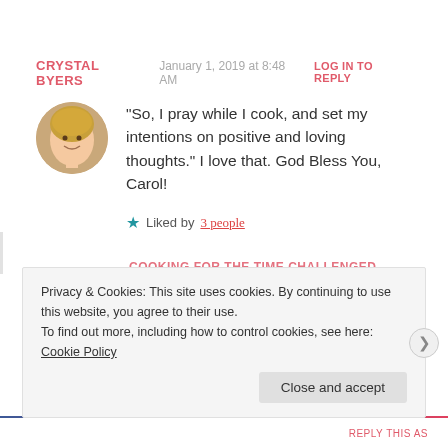CRYSTAL BYERS  January 1, 2019 at 8:48 AM  LOG IN TO REPLY
“So, I pray while I cook, and set my intentions on positive and loving thoughts.” I love that. God Bless You, Carol!
Liked by 3 people
COOKING FOR THE TIME CHALLENGED
Privacy & Cookies: This site uses cookies. By continuing to use this website, you agree to their use.
To find out more, including how to control cookies, see here: Cookie Policy
Close and accept